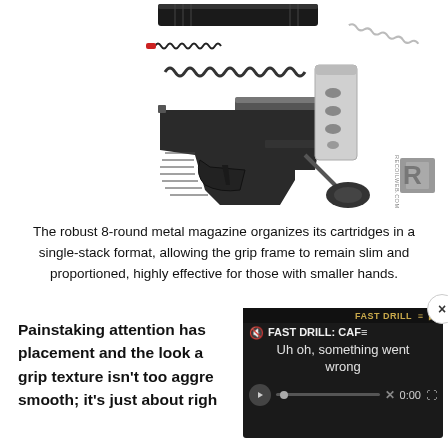[Figure (illustration): Exploded diagram of a Walther handgun showing disassembled components: slide, barrel, recoil spring, frame, magazine, magazine spring, and base plate. RECOILWEB.COM logo watermark in bottom right.]
The robust 8-round metal magazine organizes its cartridges in a single-stack format, allowing the grip frame to remain slim and proportioned, highly effective for those with smaller hands.
Painstaking attention has placement and the look a grip texture isn't too aggre smooth; it's just about rig